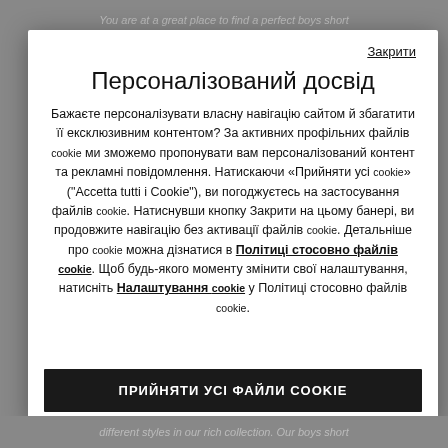You are at a great place to find a perfect boys short
Персоналізований досвід
Бажаєте персоналізувати власну навігацію сайтом й збагатити її ексклюзивним контентом? За активних профільних файлів cookie ми зможемо пропонувати вам персоналізований контент та рекламні повідомлення. Натискаючи «Прийняти усі cookie» ("Accetta tutti i Cookie"), ви погоджуєтесь на застосування файлів cookie. Натиснувши кнопку Закрити на цьому банері, ви продовжите навігацію без активації файлів cookie. Детальніше про cookie можна дізнатися в Політиці стосовно файлів cookie. Щоб будь-якого моменту змінити свої налаштування, натисніть Налаштування cookie у Політиці стосовно файлів cookie.
ПРИЙНЯТИ УСІ ФАЙЛИ COOKIE
different styles in our rich collection. Our boys short